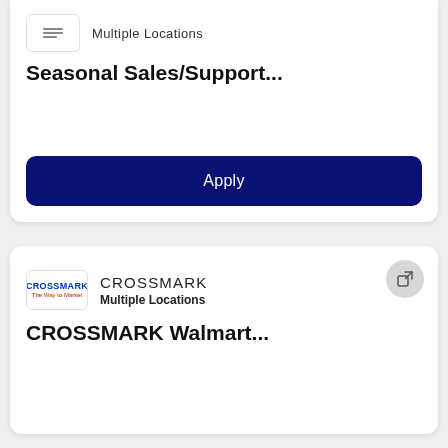Seasonal Sales/Support...
Apply
CROSSMARK
Multiple Locations
CROSSMARK Walmart...